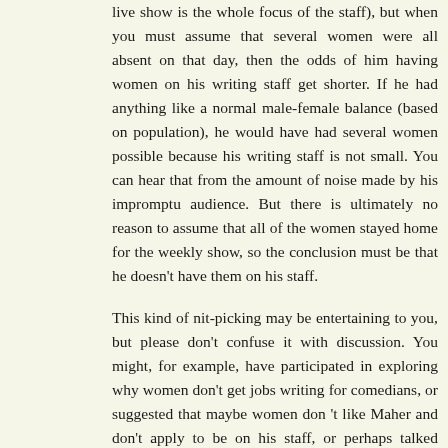live show is the whole focus of the staff), but when you must assume that several women were all absent on that day, then the odds of him having women on his writing staff get shorter. If he had anything like a normal male-female balance (based on population), he would have had several women possible because his writing staff is not small. You can hear that from the amount of noise made by his impromptu audience. But there is ultimately no reason to assume that all of the women stayed home for the weekly show, so the conclusion must be that he doesn't have them on his staff.
This kind of nit-picking may be entertaining to you, but please don't confuse it with discussion. You might, for example, have participated in exploring why women don't get jobs writing for comedians, or suggested that maybe women don 't like Maher and don't apply to be on his staff, or perhaps talked about whether women are under-represented behind the scenes in politics, since the usual ratio on Maher's panel is two men and one woman. Lots of interesting